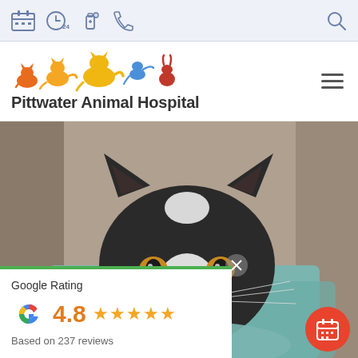Utility navigation bar with calendar, clock, pharmacy, phone icons and search icon
[Figure (logo): Pittwater Animal Hospital logo: colorful animal silhouettes (cat, dog, bird, rabbit) in orange, yellow, blue, red]
Pittwater Animal Hospital
[Figure (photo): Close-up photo of a black and white tuxedo kitten looking at the camera, resting on a teal/mint blanket, blurred background]
Google Rating
4.8 ★★★★★
Based on 237 reviews